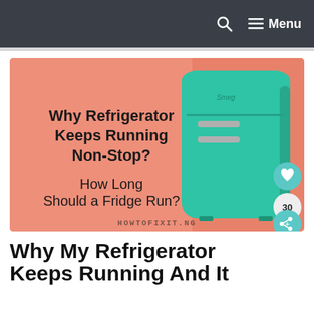Menu
[Figure (photo): Hero image showing a retro teal/green refrigerator on a salmon/coral pink background. Text overlay reads: 'Why Refrigerator Keeps Running Non-Stop? How Long Should a Fridge Run?' with watermark 'HOWTOFIXIT.NG' at the bottom.]
Why My Refrigerator Keeps Running And It...